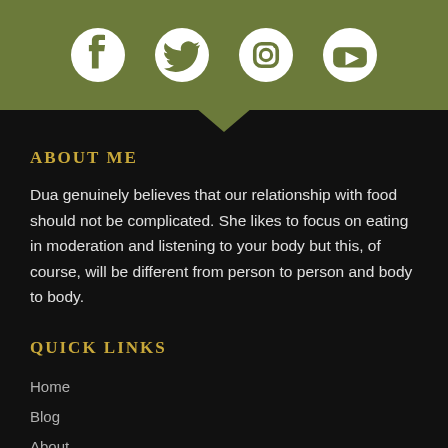[Figure (illustration): Green header bar with four white social media icons: Facebook, Twitter, Instagram, YouTube, with a downward chevron at the bottom center]
ABOUT ME
Dua genuinely believes that our relationship with food should not be complicated. She likes to focus on eating in moderation and listening to your body but this, of course, will be different from person to person and body to body.
QUICK LINKS
Home
Blog
About
CONTACT